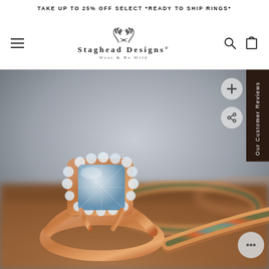TAKE UP TO 25% OFF SELECT *READY TO SHIP RINGS*
[Figure (logo): Staghead Designs logo with antler illustration and text STAGHEAD DESIGNS® WEAR & BE WILD]
[Figure (photo): Close-up photo of two rose gold rings on a wooden surface: one engagement ring with a cushion-cut diamond halo setting, and one wedding band with opal inlay]